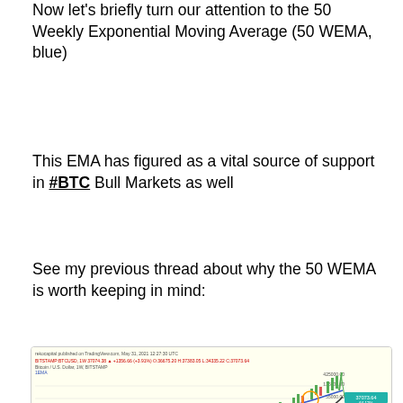Now let's briefly turn our attention to the 50 Weekly Exponential Moving Average (50 WEMA, blue)
This EMA has figured as a vital source of support in #BTC Bull Markets as well
See my previous thread about why the 50 WEMA is worth keeping in mind:
[Figure (screenshot): TradingView chart screenshot showing Bitcoin/US Dollar weekly candlestick chart on BITSTAMP with a blue 50 WEMA line and a black curve, with price data from rekocapital published on TradingView.com May 31, 2021. Orange circles highlight support points on the 50 WEMA. A crypto advertisement banner overlays the bottom portion of the chart reading 'NEW CRYPTO TECHNOLOGY - CROSS STAKING DAILY AND HIGH REWARDS'.]